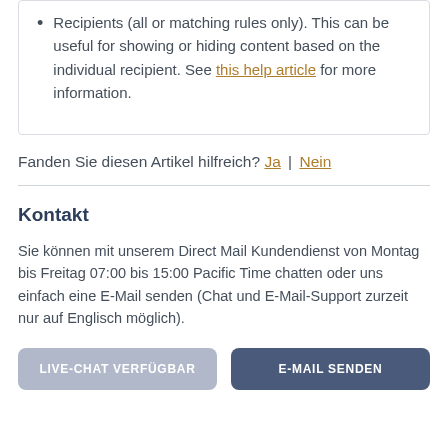Recipients (all or matching rules only). This can be useful for showing or hiding content based on the individual recipient. See this help article for more information.
Fanden Sie diesen Artikel hilfreich? Ja | Nein
Kontakt
Sie können mit unserem Direct Mail Kundendienst von Montag bis Freitag 07:00 bis 15:00 Pacific Time chatten oder uns einfach eine E-Mail senden (Chat und E-Mail-Support zurzeit nur auf Englisch möglich).